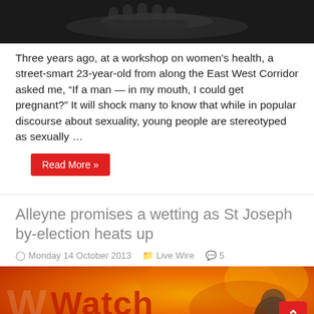[Figure (photo): Black and white close-up photo of hands, partially visible at top of page.]
Three years ago, at a workshop on women's health, a street-smart 23-year-old from along the East West Corridor asked me, “If a man — in my mouth, I could get pregnant?” It will shock many to know that while in popular discourse about sexuality, young people are stereotyped as sexually …
Read More »
Alleyne promises a wetting as St Joseph by-election heats up
Monday 14 October 2013   Live Wire   5
[Figure (photo): Colorful image showing text 'Watch' with orange/fire background and a person's head visible, related to a political article about Alleyne and St Joseph by-election.]